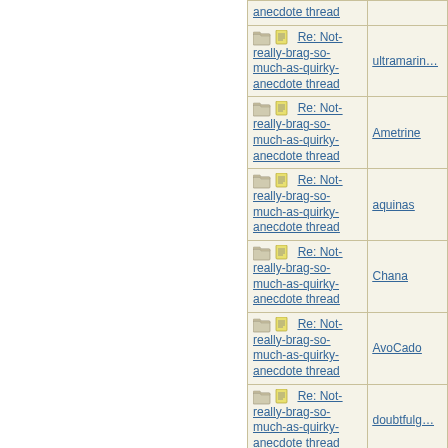| Thread | Author |
| --- | --- |
| anecdote thread |  |
| Re: Not-really-brag-so-much-as-quirky-anecdote thread | ultramarin… |
| Re: Not-really-brag-so-much-as-quirky-anecdote thread | Ametrine |
| Re: Not-really-brag-so-much-as-quirky-anecdote thread | aquinas |
| Re: Not-really-brag-so-much-as-quirky-anecdote thread | Chana |
| Re: Not-really-brag-so-much-as-quirky-anecdote thread | AvoCado |
| Re: Not-really-brag-so-much-as-quirky-anecdote thread | doubtfulg… |
| Re: Not-really-… |  |